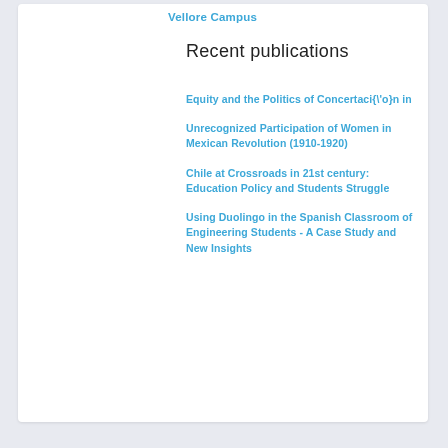Vellore Campus
Recent publications
Equity and the Politics of Concertaci{\'o}n in
Unrecognized Participation of Women in Mexican Revolution (1910-1920)
Chile at Crossroads in 21st century: Education Policy and Students Struggle
Using Duolingo in the Spanish Classroom of Engineering Students - A Case Study and New Insights